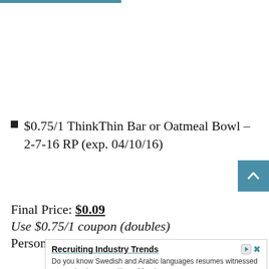$0.75/1 ThinkThin Bar or Oatmeal Bowl – 2-7-16 RP (exp. 04/10/16)
Final Price: $0.09
Use $0.75/1 coupon (doubles)
Personal Care
[Figure (infographic): Advertisement box: Recruiting Industry Trends - Do you know Swedish and Arabic languages resumes witnessed a massive Increase, Know More! RChilli Inc. Open button.]